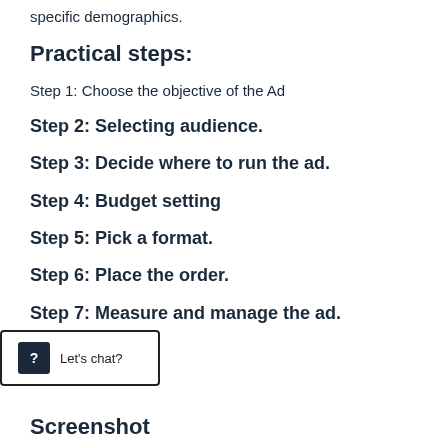specific demographics.
Practical steps:
Step 1: Choose the objective of the Ad
Step 2: Selecting audience.
Step 3: Decide where to run the ad.
Step 4: Budget setting
Step 5: Pick a format.
Step 6: Place the order.
Step 7: Measure and manage the ad.
Screenshot